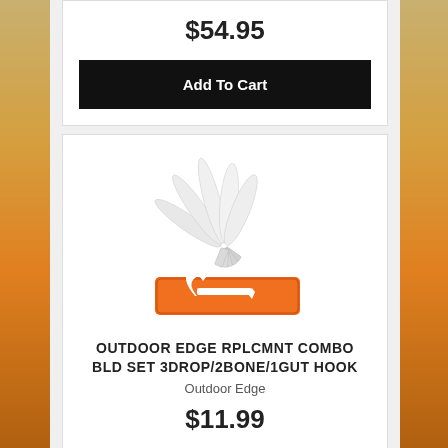$54.95
Add To Cart
[Figure (photo): Outdoor Edge replacement blade combo set showing multiple drop-point blades fanned out above an orange case containing a gut hook tool]
OUTDOOR EDGE RPLCMNT COMBO BLD SET 3DROP/2BONE/1GUT HOOK
Outdoor Edge
$11.99